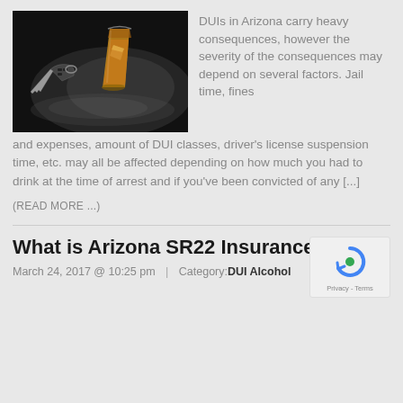[Figure (photo): A glass of whiskey/amber liquor and car keys on a dark background, suggesting DUI/drunk driving theme.]
DUIs in Arizona carry heavy consequences, however the severity of the consequences may depend on several factors. Jail time, fines and expenses, amount of DUI classes, driver's license suspension time, etc. may all be affected depending on how much you had to drink at the time of arrest and if you've been convicted of any [...]
(READ MORE ...)
What is Arizona SR22 Insurance?
March 24, 2017 @ 10:25 pm  |  Category: DUI Alcohol